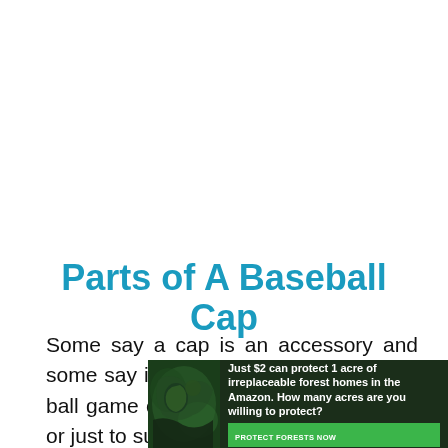Parts of A Baseball Cap
Some say a cap is an accessory and some say it's compulsory. Needed for a ball game or just to walk under the sun or just to support your favorite team, the cap is used by consumers of all
[Figure (other): Advertisement banner: forest/Amazon conservation ad. Text reads: 'Just $2 can protect 1 acre of irreplaceable forest homes in the Amazon. How many acres are you willing to protect?' with a green 'PROTECT FORESTS NOW' button.]